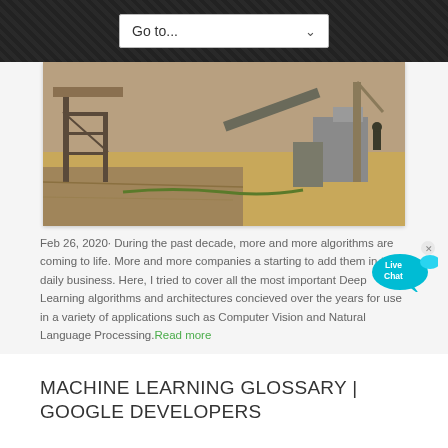Go to...
[Figure (photo): Construction site photograph showing industrial machinery, scaffolding, and sandy terrain with workers]
Feb 26, 2020· During the past decade, more and more algorithms are coming to life. More and more companies are starting to add them in their daily business. Here, I tried to cover all the most important Deep Learning algorithms and architectures concieved over the years for use in a variety of applications such as Computer Vision and Natural Language Processing.Read more
[Figure (illustration): Live Chat bubble icon in cyan/blue color]
MACHINE LEARNING GLOSSARY | GOOGLE DEVELOPERS
[Figure (photo): Bottom image strip showing more content below fold]